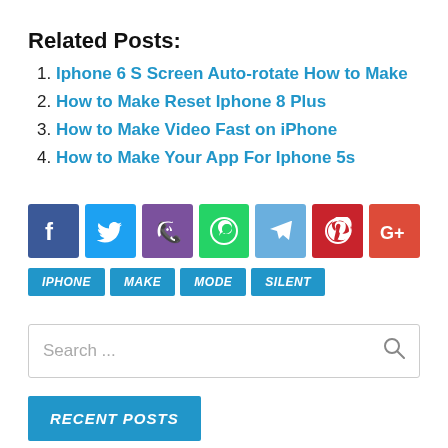Related Posts:
Iphone 6 S Screen Auto-rotate How to Make
How to Make Reset Iphone 8 Plus
How to Make Video Fast on iPhone
How to Make Your App For Iphone 5s
[Figure (infographic): Social share buttons: Facebook, Twitter, Viber, WhatsApp, Telegram, Pinterest, Google+]
IPHONE  MAKE  MODE  SILENT
Search ...
RECENT POSTS